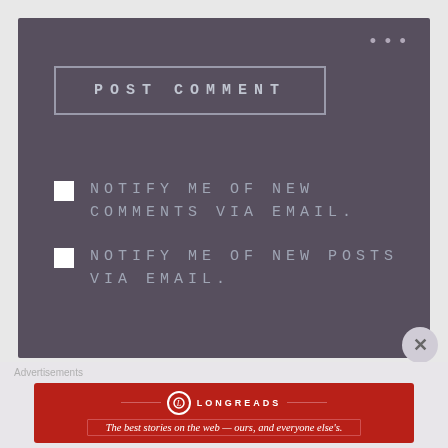[Figure (screenshot): Blog comment form area with dark purple-gray background showing a POST COMMENT button and two email notification checkboxes]
POST COMMENT
NOTIFY ME OF NEW COMMENTS VIA EMAIL.
NOTIFY ME OF NEW POSTS VIA EMAIL.
Advertisements
[Figure (infographic): Longreads advertisement banner: red background with Longreads logo and tagline 'The best stories on the web — ours, and everyone else's.']